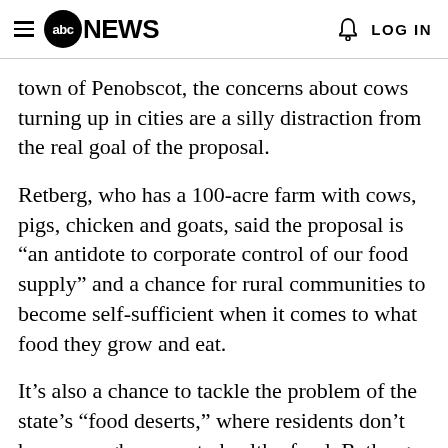abc NEWS  LOG IN
town of Penobscot, the concerns about cows turning up in cities are a silly distraction from the real goal of the proposal.
Retberg, who has a 100-acre farm with cows, pigs, chicken and goats, said the proposal is “an antidote to corporate control of our food supply” and a chance for rural communities to become self-sufficient when it comes to what food they grow and eat.
It’s also a chance to tackle the problem of the state’s “food deserts,” where residents don’t have enough access to healthy food, Retberg